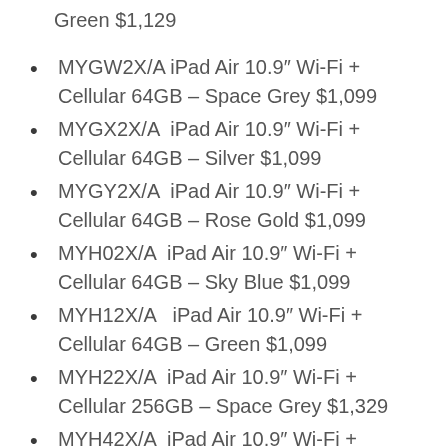Green $1,129
MYGW2X/A iPad Air 10.9″ Wi-Fi + Cellular 64GB – Space Grey $1,099
MYGX2X/A  iPad Air 10.9″ Wi-Fi + Cellular 64GB – Silver $1,099
MYGY2X/A  iPad Air 10.9″ Wi-Fi + Cellular 64GB – Rose Gold $1,099
MYH02X/A  iPad Air 10.9″ Wi-Fi + Cellular 64GB – Sky Blue $1,099
MYH12X/A   iPad Air 10.9″ Wi-Fi + Cellular 64GB – Green $1,099
MYH22X/A  iPad Air 10.9″ Wi-Fi + Cellular 256GB – Space Grey $1,329
MYH42X/A  iPad Air 10.9″ Wi-Fi + Cellular 256GB – Silver $1,329